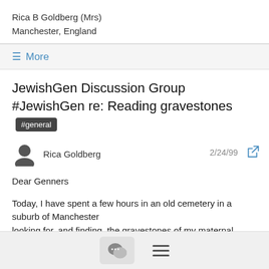Rica B Goldberg (Mrs)
Manchester, England
≡ More
JewishGen Discussion Group #JewishGen re: Reading gravestones #general
Rica Goldberg  2/24/99
Dear Genners
Today, I have spent a few hours in an old cemetery in a suburb of Manchester
looking for, and finding, the gravestones of my maternal great-grandparents.
My grandmother was one of their 9 children all born in Europe. 8 came to